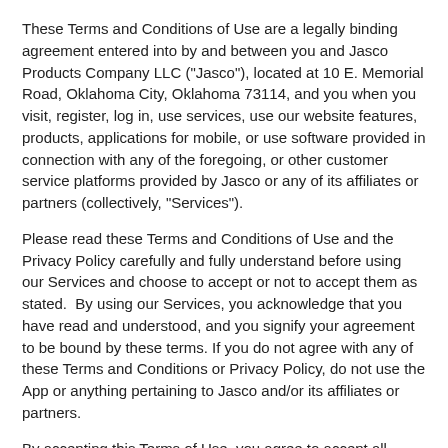These Terms and Conditions of Use are a legally binding agreement entered into by and between you and Jasco Products Company LLC ("Jasco"), located at 10 E. Memorial Road, Oklahoma City, Oklahoma 73114, and you when you visit, register, log in, use services, use our website features, products, applications for mobile, or use software provided in connection with any of the foregoing, or other customer service platforms provided by Jasco or any of its affiliates or partners (collectively, "Services").
Please read these Terms and Conditions of Use and the Privacy Policy carefully and fully understand before using our Services and choose to accept or not to accept them as stated.  By using our Services, you acknowledge that you have read and understood, and you signify your agreement to be bound by these terms. If you do not agree with any of these Terms and Conditions or Privacy Policy, do not use the App or anything pertaining to Jasco and/or its affiliates or partners.
By accepting this Terms of Use, you agree to accept all constraints, including accepting Jasco to reserve the right to modify the Terms and Conditions of Use or Privacy Policy at any time. IF YOU DO NOT AGREE TO THESE TERMS, YOU SHALL NOT USE OR ACCESS THE SERVICES IN ANY MANNER, and we may suspend or stop providing our Services to you in our sole and exclusive discretion.